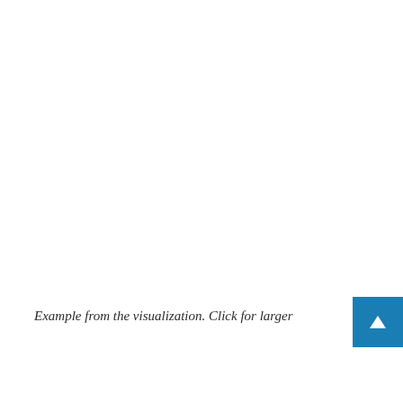Example from the visualization. Click for larger
[Figure (other): Blue button with white upward arrow, used as a UI element to expand or scroll up]